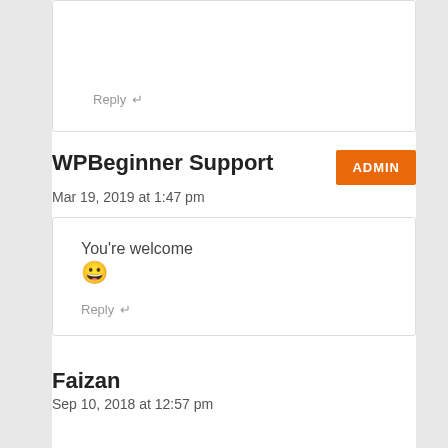Reply ↵
WPBeginner Support
Mar 19, 2019 at 1:47 pm
You're welcome 😀
Reply ↵
Faizan
Sep 10, 2018 at 12:57 pm